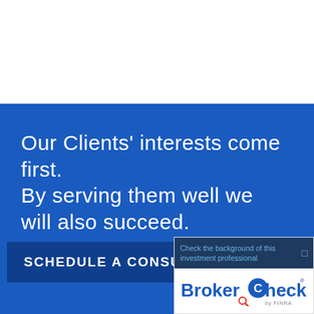Our Clients' interests come first. By serving them well we will also succeed.
SCHEDULE A CONSULTATION
[Figure (logo): BrokerCheck by FINRA widget with text 'Check the background of this investment professional' and BrokerCheck logo]